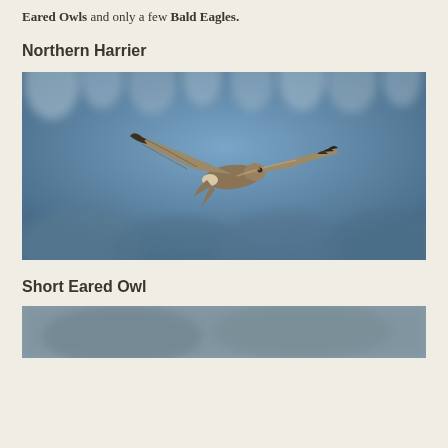Eared Owls and only a few Bald Eagles.
Northern Harrier
[Figure (photo): A Northern Harrier hawk in flight against a blurred blue mountain/forest background. The bird is shown with wings spread wide, brown and grey plumage, flying from left to right.]
Short Eared Owl
[Figure (photo): Partial view of a Short Eared Owl photo, cropped at bottom of page, showing a blurred grey-blue background.]